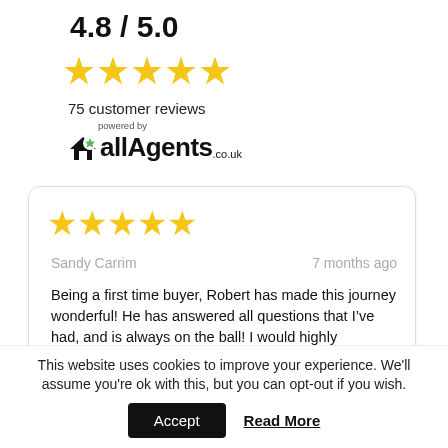4.8 / 5.0
[Figure (other): Five gold star rating icons]
75 customer reviews
[Figure (logo): allAgents.co.uk logo with house icon and green star, powered by allAgents]
[Figure (other): Five gold star rating icons inside review card]
Sandy Carrim
7 months ago
Being a first time buyer, Robert has made this journey wonderful! He has answered all questions that I&rsquo;ve had, and is always on the ball! I would highly
This website uses cookies to improve your experience. We'll assume you're ok with this, but you can opt-out if you wish.
Accept
Read More